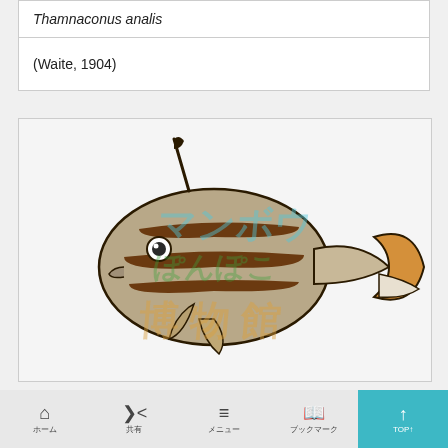Thamnaconus analis
(Waite, 1904)
[Figure (illustration): Illustration of a triggerfish (Thamnaconus analis) showing brown/tan body with dark brown horizontal stripes, small dorsal spine, and orange-yellow tail area. Watermark text in Japanese hiragana/katakana reads マンボウ ぽんぽこ 博物館 (Manbou Ponpoko Museum) in light blue and green/orange colors overlaid on the image.]
ホーム　　共有　　メニュー　　ブックマーク　　TOP↑